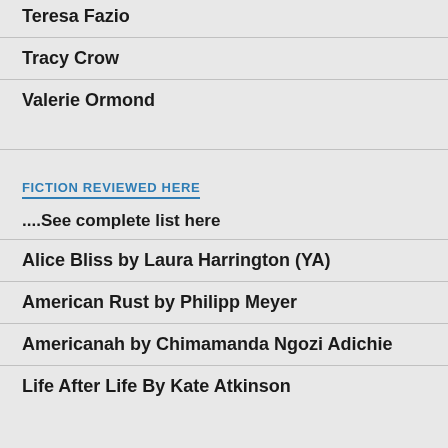Teresa Fazio
Tracy Crow
Valerie Ormond
FICTION REVIEWED HERE
....See complete list here
Alice Bliss by Laura Harrington (YA)
American Rust by Philipp Meyer
Americanah by Chimamanda Ngozi Adichie
Life After Life By Kate Atkinson